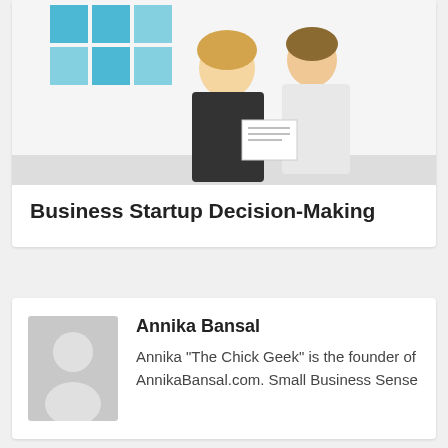[Figure (photo): Two women in an office setting looking at documents; blue geometric shapes visible in background.]
Business Startup Decision-Making
[Figure (photo): Generic grey avatar placeholder image showing silhouette of a person.]
Annika Bansal
Annika "The Chick Geek" is the founder of AnnikaBansal.com. Small Business Sense